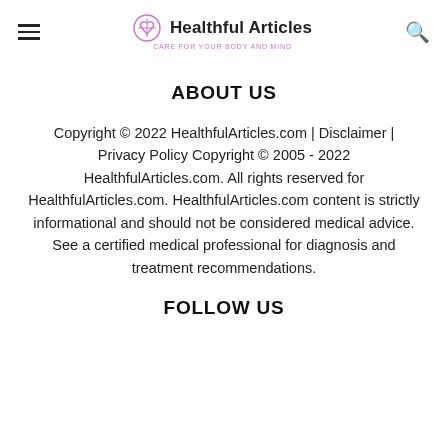Healthful Articles — CARE FOR YOUR BODY AND MIND
ABOUT US
Copyright © 2022 HealthfulArticles.com | Disclaimer | Privacy Policy Copyright © 2005 - 2022 HealthfulArticles.com. All rights reserved for HealthfulArticles.com. HealthfulArticles.com content is strictly informational and should not be considered medical advice. See a certified medical professional for diagnosis and treatment recommendations.
FOLLOW US